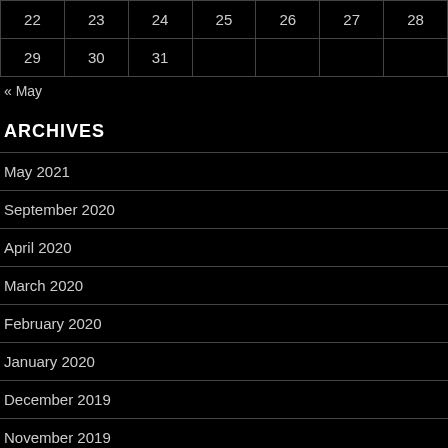| 22 | 23 | 24 | 25 | 26 | 27 | 28 |
| 29 | 30 | 31 |  |  |  |  |
« May
ARCHIVES
May 2021
September 2020
April 2020
March 2020
February 2020
January 2020
December 2019
November 2019